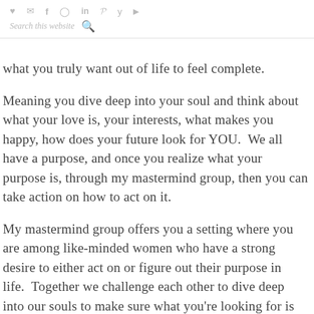♥ ✉ f ⊙ in P y ▶  Search this website 🔍
what you truly want out of life to feel complete.
Meaning you dive deep into your soul and think about what your love is, your interests, what makes you happy, how does your future look for YOU.  We all have a purpose, and once you realize what your purpose is, through my mastermind group, then you can take action on how to act on it.
My mastermind group offers you a setting where you are among like-minded women who have a strong desire to either act on or figure out their purpose in life.  Together we challenge each other to dive deep into our souls to make sure what you're looking for is